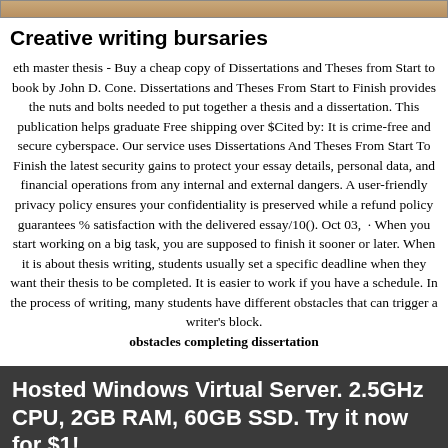[Figure (photo): Partial image strip at top of page, brownish/warm tones]
Creative writing bursaries
eth master thesis - Buy a cheap copy of Dissertations and Theses from Start to book by John D. Cone. Dissertations and Theses From Start to Finish provides the nuts and bolts needed to put together a thesis and a dissertation. This publication helps graduate Free shipping over $Cited by: It is crime-free and secure cyberspace. Our service uses Dissertations And Theses From Start To Finish the latest security gains to protect your essay details, personal data, and financial operations from any internal and external dangers. A user-friendly privacy policy ensures your confidentiality is preserved while a refund policy guarantees % satisfaction with the delivered essay/10(). Oct 03,  · When you start working on a big task, you are supposed to finish it sooner or later. When it is about thesis writing, students usually set a specific deadline when they want their thesis to be completed. It is easier to work if you have a schedule. In the process of writing, many students have different obstacles that can trigger a writer's block.
obstacles completing dissertation
Hosted Windows Virtual Server. 2.5GHz CPU, 2GB RAM, 60GB SSD. Try it now for $1!